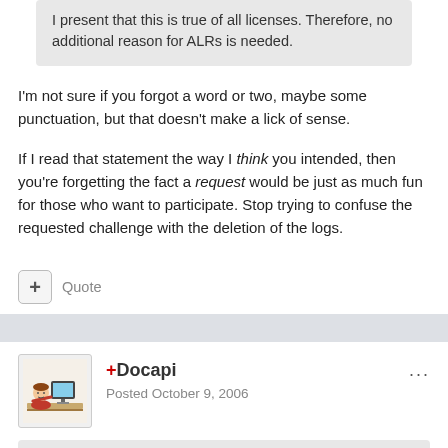I present that this is true of all licenses. Therefore, no additional reason for ALRs is needed.
I'm not sure if you forgot a word or two, maybe some punctuation, but that doesn't make a lick of sense.
If I read that statement the way I think you intended, then you're forgetting the fact a request would be just as much fun for those who want to participate. Stop trying to confuse the requested challenge with the deletion of the logs.
+ Quote
+Docapi
Posted October 9, 2006
sbell111 said: